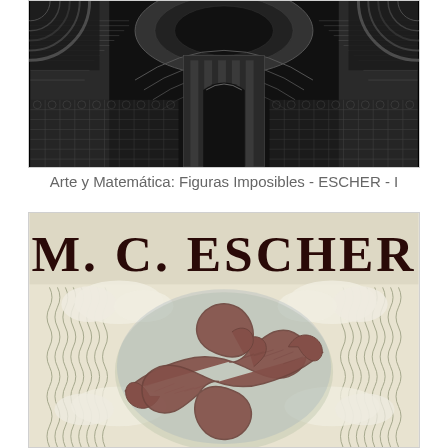[Figure (illustration): Black and white M.C. Escher-style architectural print showing an extreme bird's-eye view of classical buildings, columns, and geometric floor patterns — typical of Escher's impossible perspective drawings.]
Arte y Matemática: Figuras Imposibles - ESCHER - I
[Figure (illustration): Book or poster cover featuring bold dark serif text 'M. C. ESCHER' at the top, on a cream/beige background. Below the text is an Escher artwork showing interlocking red/brown hands drawing each other (Drawing Hands style), set against a cloudy sky with wavy vertical lines on the sides.]